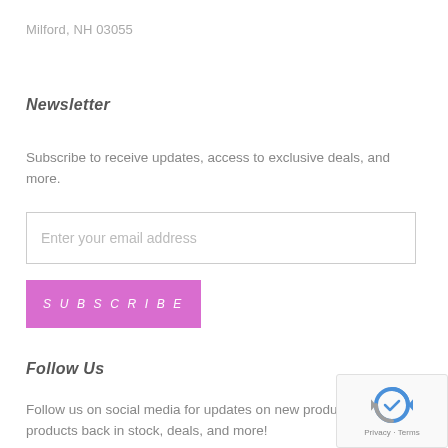Milford, NH 03055
Newsletter
Subscribe to receive updates, access to exclusive deals, and more.
Enter your email address
SUBSCRIBE
Follow Us
Follow us on social media for updates on new products, products back in stock, deals, and more!
[Figure (other): reCAPTCHA privacy badge with logo, Privacy and Terms links]